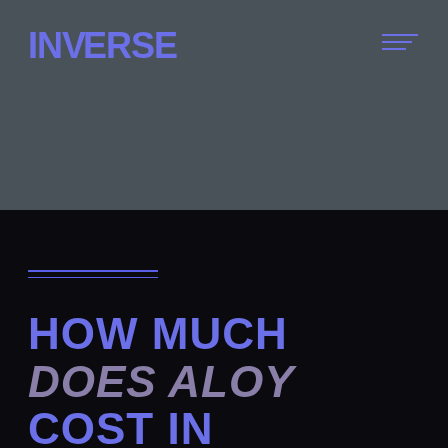INVERSE
[Figure (other): Dark teal/gray background image area occupying upper half of page]
HOW MUCH DOES ALOY COST IN GENSHIN IMPACT?